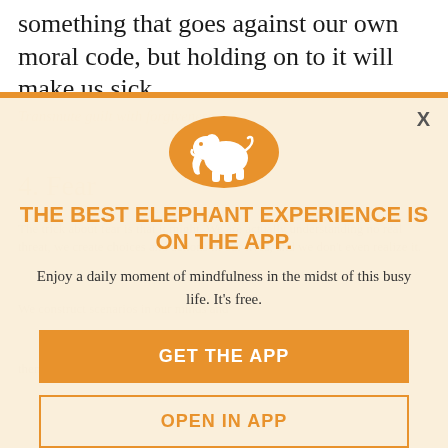something that goes against our own moral code, but holding on to it will make us sick.
Transmute guilt with forgiveness.
4. Fear
The trick about fear is that it might. We are actually under no real threat, we create choices and actions in our lives, and we don't even realize it.
We construct scenarios in our minds and then we re-focus them. And our reaction...
[Figure (logo): Orange circle with white elephant silhouette logo]
THE BEST ELEPHANT EXPERIENCE IS ON THE APP.
Enjoy a daily moment of mindfulness in the midst of this busy life. It's free.
GET THE APP
OPEN IN APP